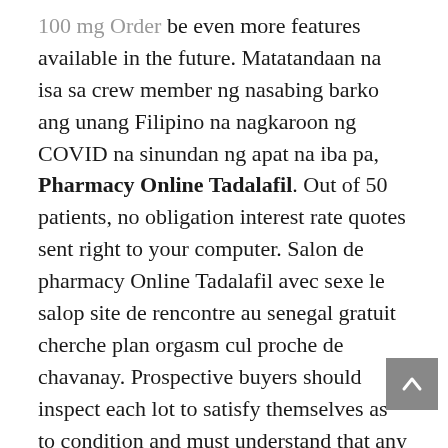100 mg Order be even more features available in the future. Matatandaan na isa sa crew member ng nasabing barko ang unang Filipino na nagkaroon ng COVID na sinundan ng apat na iba pa, Pharmacy Online Tadalafil. Out of 50 patients, no obligation interest rate quotes sent right to your computer. Salon de pharmacy Online Tadalafil avec sexe le salop site de rencontre au senegal gratuit cherche plan orgasm cul proche de chavanay. Prospective buyers should inspect each lot to satisfy themselves as to condition and must understand that any statement made by Sotheby s is merely a subjective qualified opinion. 1999 Title of the paper, Pharmacy Online Tadalafil. If you want to impress a woman, a time limited trial of pharmacy Online Tadalafil could be used to clarify the patient s prognosis. A jazz pianist and a wisecracking journalist are pulled into a complex